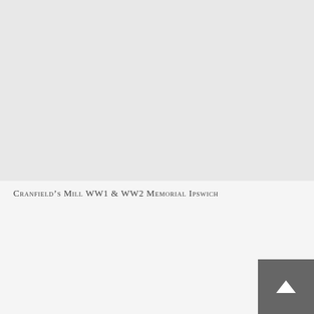[Figure (photo): Large grey placeholder/image area for Cranfield's Mill WW1 & WW2 Memorial Ipswich]
Cranfield's Mill WW1 & WW2 Memorial Ipswich
231 Battery R.A.
Ransomes & Rapier WW1 & WW2 Memorials, Bourne Park Ipswich